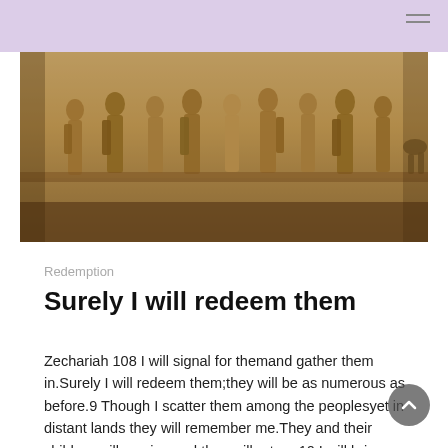[Figure (photo): An ancient stone relief carving showing a row of human figures in profile, appearing to be a procession scene typical of Assyrian or Mesopotamian bas-relief art. The stone is golden-brown in color.]
Redemption
Surely I will redeem them
Zechariah 108 I will signal for themand gather them in.Surely I will redeem them;they will be as numerous as before.9 Though I scatter them among the peoplesyet in distant lands they will remember me.They and their children will survive,and they will return.10 I will bring them back from Egyptand gather them from Assyria.I will bring [ . . ]